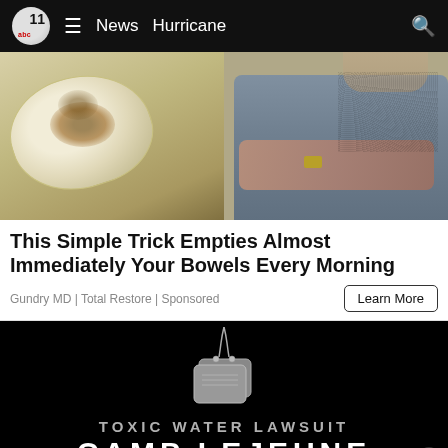abc11  ≡  News  Hurricane
[Figure (photo): Advertisement image showing a food item on a plate on the left and a man with arms crossed on the right]
This Simple Trick Empties Almost Immediately Your Bowels Every Morning
Gundry MD | Total Restore | Sponsored
[Figure (photo): Advertisement for Toxic Water Lawsuit Camp Lejeune with dog tags on black background]